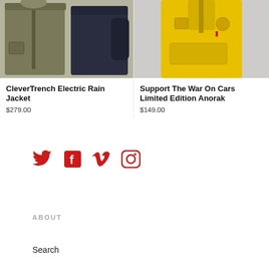[Figure (photo): Two jackets: an olive/khaki hooded rain jacket and a navy side-view jacket]
CleverTrench Electric Rain Jacket
$279.00
[Figure (photo): Person wearing a bright yellow hooded anorak with chest pocket]
Support The War On Cars Limited Edition Anorak
$149.00
[Figure (infographic): Social media icons: Twitter, Facebook, Vimeo, Instagram - all in red]
ABOUT
Search